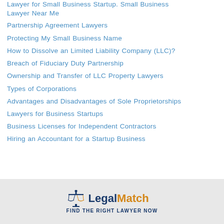Lawyer for Small Business Startup. Small Business Lawyer Near Me
Partnership Agreement Lawyers
Protecting My Small Business Name
How to Dissolve an Limited Liability Company (LLC)?
Breach of Fiduciary Duty Partnership
Ownership and Transfer of LLC Property Lawyers
Types of Corporations
Advantages and Disadvantages of Sole Proprietorships
Lawyers for Business Startups
Business Licenses for Independent Contractors
Hiring an Accountant for a Startup Business
[Figure (logo): LegalMatch logo with scales of justice icon. Text reads 'LegalMatch' with 'Legal' in dark navy and 'Match' in orange/gold. Below: 'FIND THE RIGHT LAWYER NOW']